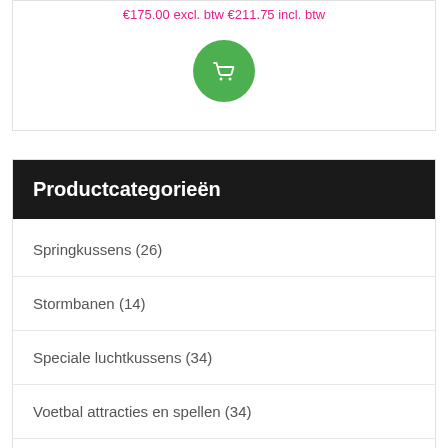€175.00 excl. btw €211.75 incl. btw
[Figure (illustration): Green circular add-to-cart button with white shopping basket icon]
Productcategorieën
Springkussens (26)
Stormbanen (14)
Speciale luchtkussens (34)
Voetbal attracties en spellen (34)
Attracties en rodeo (22)